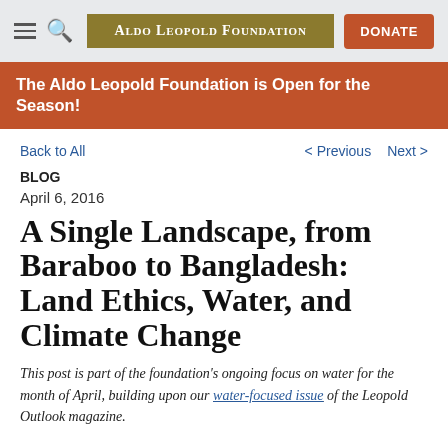Aldo Leopold Foundation | DONATE
The Aldo Leopold Foundation is Open for the Season!
Back to All   < Previous   Next >
BLOG
April 6, 2016
A Single Landscape, from Baraboo to Bangladesh: Land Ethics, Water, and Climate Change
This post is part of the foundation's ongoing focus on water for the month of April, building upon our water-focused issue of the Leopold Outlook magazine.